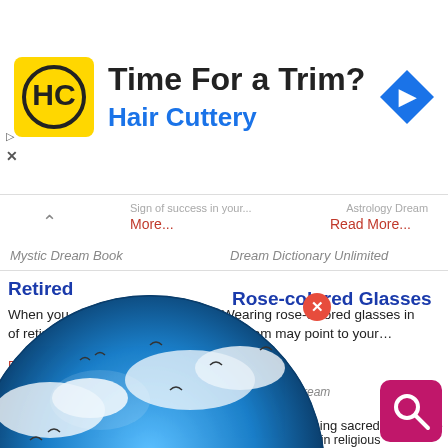[Figure (screenshot): Advertisement banner for Hair Cuttery with yellow HC logo, text 'Time For a Trim?' and 'Hair Cuttery' in blue, navigation arrow icon on right]
More...
Read More...
Mystic Dream Book
Dream Dictionary Unlimited
Retired
When you are young, dreaming of retire... Re...
Rose-colored Glasses
Wearing rose-colored glasses in a dream may point to your… Read More...
Ine's Book of Dream
cred
ally valued highly in religious eration... Dream Dictionary... d More...
eam Dictionary Unlimited
[Figure (illustration): Dream Encyclopedia globe logo overlaid on the page content, showing a globe with sky and clouds, birds, and the text 'Dream Encyclopedia']
Sacred
ly / Something sacred or hallowe